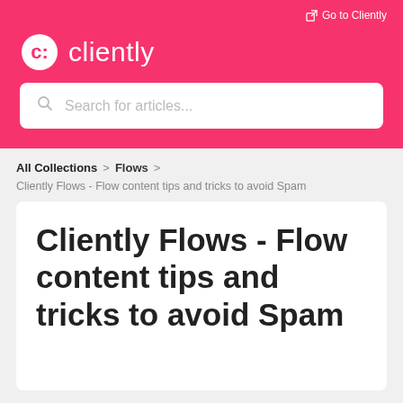Go to Cliently
cliently
Search for articles...
All Collections > Flows >
Cliently Flows - Flow content tips and tricks to avoid Spam
Cliently Flows - Flow content tips and tricks to avoid Spam